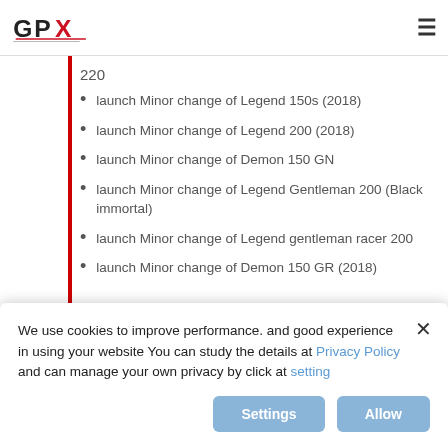GPX [logo] [hamburger menu]
220
launch Minor change of Legend 150s (2018)
launch Minor change of Legend 200 (2018)
launch Minor change of Demon 150 GN
launch Minor change of Legend Gentleman 200 (Black immortal)
launch Minor change of Legend gentleman racer 200
launch Minor change of Demon 150 GR (2018)
We use cookies to improve performance. and good experience in using your website You can study the details at Privacy Policy and can manage your own privacy by click at setting